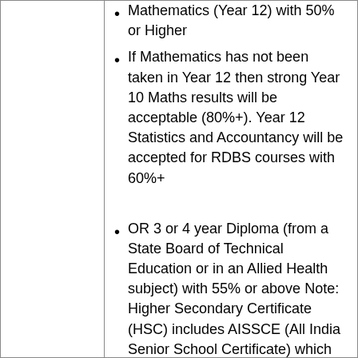Mathematics (Year 12) with 50% or Higher
If Mathematics has not been taken in Year 12 then strong Year 10 Maths results will be acceptable (80%+). Year 12 Statistics and Accountancy will be accepted for RDBS courses with 60%+
OR 3 or 4 year Diploma (from a State Board of Technical Education or in an Allied Health subject) with 55% or above Note: Higher Secondary Certificate (HSC) includes AISSCE (All India Senior School Certificate) which is a year